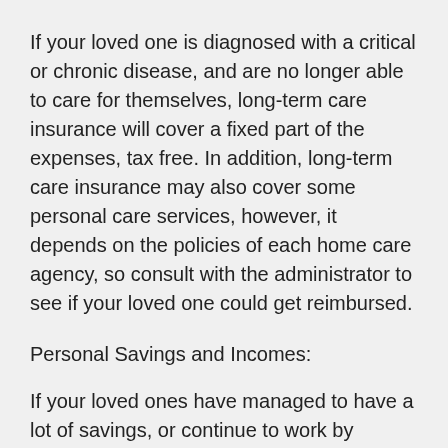If your loved one is diagnosed with a critical or chronic disease, and are no longer able to care for themselves, long-term care insurance will cover a fixed part of the expenses, tax free. In addition, long-term care insurance may also cover some personal care services, however, it depends on the policies of each home care agency, so consult with the administrator to see if your loved one could get reimbursed.
Personal Savings and Incomes:
If your loved ones have managed to have a lot of savings, or continue to work by choice, then the payment will become much simpler.